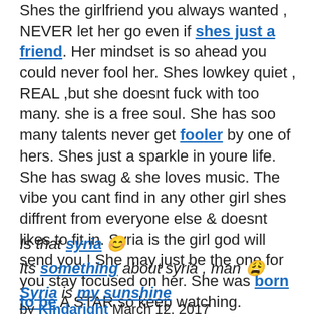Shes the girlfriend you always wanted , NEVER let her go even if shes just a friend. Her mindset is so ahead you could never fool her. Shes lowkey quiet , REAL ,but she doesnt fuck with too many. she is a free soul. She has soo many talents never get fooler by one of hers. Shes just a sparkle in youre life. She has swag & she loves music. The vibe you cant find in any other girl shes diffrent from everyone else & doesnt likes to fit in. Syria is the girl god will send you ! She may just be the one for you stay focused on her. She was born to be A STAR so keep watching.
Is that syria 😊
Its something about syria , man 😩
Syria is my sunshine
by Kindaright March 12, 2017